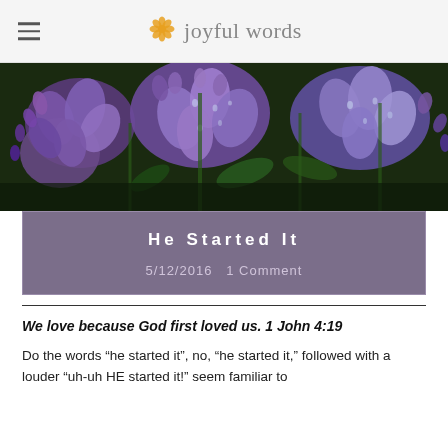Joyful Words
[Figure (photo): Close-up photograph of purple lilac flowers with water droplets on petals, dark green background]
He Started It
5/12/2016   1 Comment
We love because God first loved us. 1 John 4:19
Do the words “he started it”, no, “he started it,” followed with a louder “uh-uh HE started it!” seem familiar to